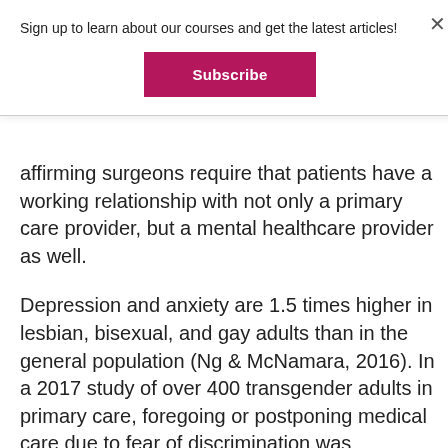Sign up to learn about our courses and get the latest articles!
Subscribe
affirming surgeons require that patients have a working relationship with not only a primary care provider, but a mental healthcare provider as well.
Depression and anxiety are 1.5 times higher in lesbian, bisexual, and gay adults than in the general population (Ng & McNamara, 2016). In a 2017 study of over 400 transgender adults in primary care, foregoing or postponing medical care due to fear of discrimination was associated with...